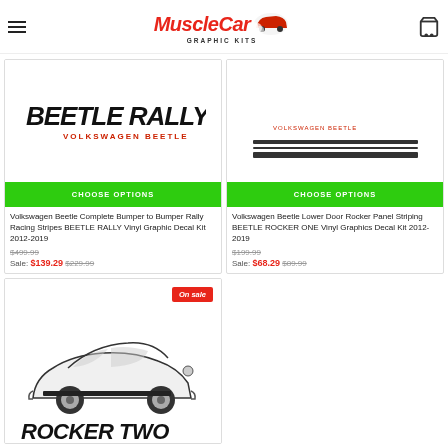MuscleCar Graphic Kits
[Figure (illustration): Volkswagen Beetle Rally graphic decal product image showing BEETLE RALLY text logo]
CHOOSE OPTIONS
Volkswagen Beetle Complete Bumper to Bumper Rally Racing Stripes BEETLE RALLY Vinyl Graphic Decal Kit 2012-2019
$499.99
Sale: $139.29 $229.99
[Figure (illustration): Volkswagen Beetle Rocker One graphic decal product image - top portion cut off]
CHOOSE OPTIONS
Volkswagen Beetle Lower Door Rocker Panel Striping BEETLE ROCKER ONE Vinyl Graphics Decal Kit 2012-2019
$199.99
Sale: $68.29 $89.99
[Figure (illustration): Volkswagen Beetle Rocker Two graphic decal product image showing side view of VW Beetle with ROCKER TWO text below, On Sale badge]
On sale